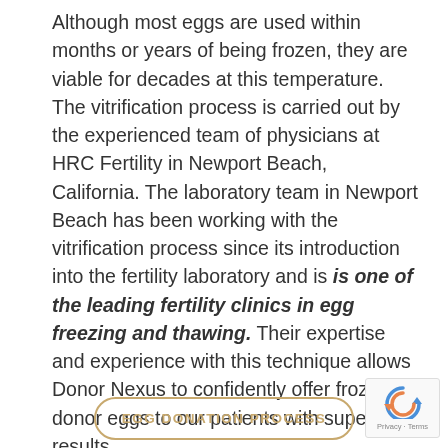Although most eggs are used within months or years of being frozen, they are viable for decades at this temperature. The vitrification process is carried out by the experienced team of physicians at HRC Fertility in Newport Beach, California. The laboratory team in Newport Beach has been working with the vitrification process since its introduction into the fertility laboratory and is is one of the leading fertility clinics in egg freezing and thawing. Their expertise and experience with this technique allows Donor Nexus to confidently offer frozen donor eggs to our patients with superior results.
[Figure (other): Button with rounded border labeled EGG DONATION PROCESS in gold/tan color]
[Figure (other): reCAPTCHA badge with Google reCAPTCHA logo and Privacy - Terms text]